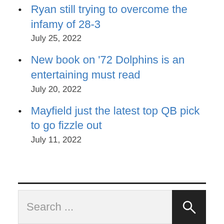Ryan still trying to overcome the infamy of 28-3
July 25, 2022
New book on '72 Dolphins is an entertaining must read
July 20, 2022
Mayfield just the latest top QB pick to go fizzle out
July 11, 2022